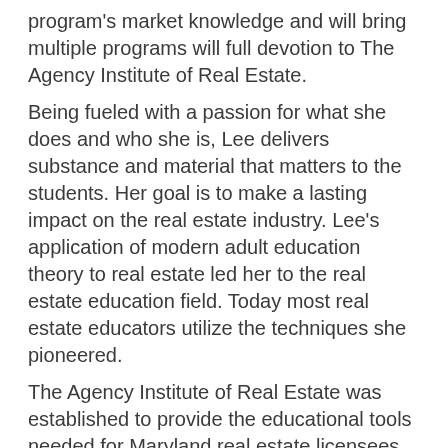program's market knowledge and will bring multiple programs will full devotion to The Agency Institute of Real Estate.
Being fueled with a passion for what she does and who she is, Lee delivers substance and material that matters to the students. Her goal is to make a lasting impact on the real estate industry. Lee's application of modern adult education theory to real estate led her to the real estate education field. Today most real estate educators utilize the techniques she pioneered.
The Agency Institute of Real Estate was established to provide the educational tools needed for Maryland real estate licensees by offering high-quality continuing education and professional development programs. Lee, understands that real estate encompasses a wide variety of specialties, besides residential, resale and brokerage. She is offering a wide range of courses to improve the real estate...